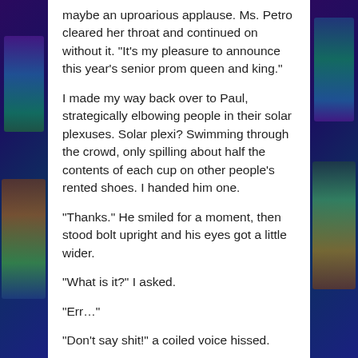maybe an uproarious applause. Ms. Petro cleared her throat and continued on without it. “It’s my pleasure to announce this year’s senior prom queen and king.”
I made my way back over to Paul, strategically elbowing people in their solar plexuses. Solar plexi? Swimming through the crowd, only spilling about half the contents of each cup on other people’s rented shoes. I handed him one.
“Thanks.” He smiled for a moment, then stood bolt upright and his eyes got a little wider.
“What is it?” I asked.
“Err…”
“Don’t say shit!” a coiled voice hissed.